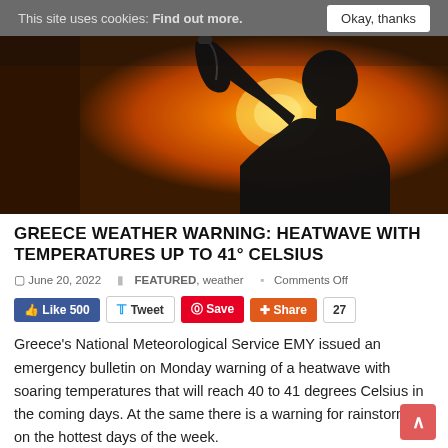This site uses cookies: Find out more.   Okay, thanks
[Figure (photo): Silhouette of a person drinking from a water bottle against a bright orange sunset background]
GREECE WEATHER WARNING: HEATWAVE WITH TEMPERATURES UP TO 41° CELSIUS
June 20, 2022   FEATURED, weather   Comments Off
Like 500  Tweet  Save  Share  27
Greece's National Meteorological Service EMY issued an emergency bulletin on Monday warning of a heatwave with soaring temperatures that will reach 40 to 41 degrees Celsius in the coming days. At the same there is a warning for rainstorms on the hottest days of the week.